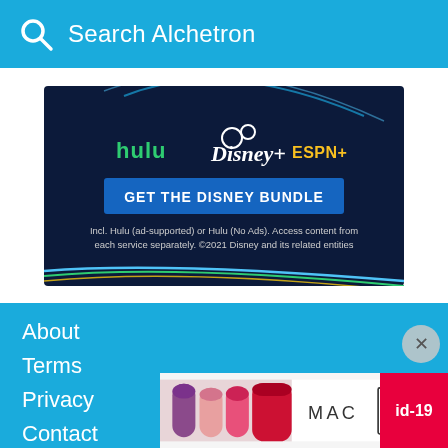Search Alchetron
[Figure (screenshot): Disney Bundle advertisement featuring Hulu, Disney+, and ESPN+ logos with 'GET THE DISNEY BUNDLE' button and fine print: Incl. Hulu (ad-supported) or Hulu (No Ads). Access content from each service separately. ©2021 Disney and its related entities]
About
Terms
Privacy
Contact
Alchetr…
[Figure (advertisement): MAC cosmetics advertisement showing lipsticks with SHOP NOW button and id-19 badge]